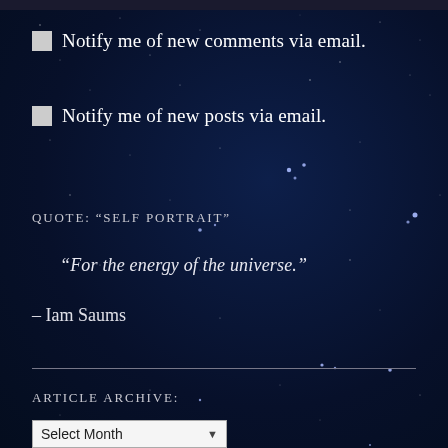☐ Notify me of new comments via email.
☐ Notify me of new posts via email.
QUOTE: “SELF PORTRAIT”
“For the energy of the universe.”
– Iam Saums
ARTICLE ARCHIVE:
Select Month